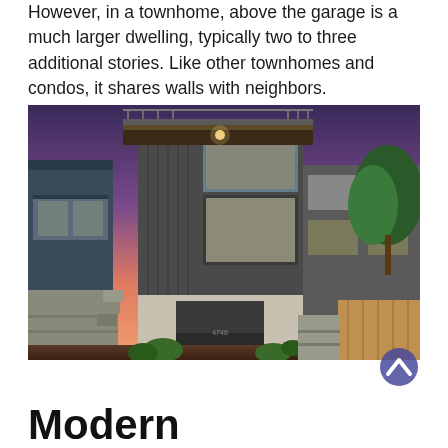However, in a townhome, above the garage is a much larger dwelling, typically two to three additional stories. Like other townhomes and condos, it shares walls with neighbors.
[Figure (photo): Exterior photo of a modern multi-story townhome at dusk, featuring vertical metal siding, large glass windows, a rooftop deck, and a garage at ground level. Surrounded by neighboring buildings and trees under a purple-pink sky.]
Modern